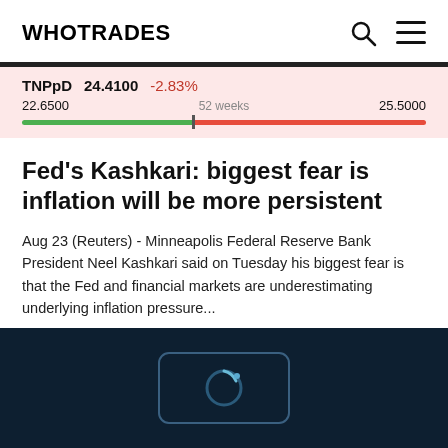WHOTRADES
TNPpD 24.4100 -2.83% 22.6500 52 weeks 25.5000
Fed's Kashkari: biggest fear is inflation will be more persistent
Aug 23 (Reuters) - Minneapolis Federal Reserve Bank President Neel Kashkari said on Tuesday his biggest fear is that the Fed and financial markets are underestimating underlying inflation pressure...
0  0
[Figure (other): Dark navy footer area with a loading spinner inside a rounded rectangle box]